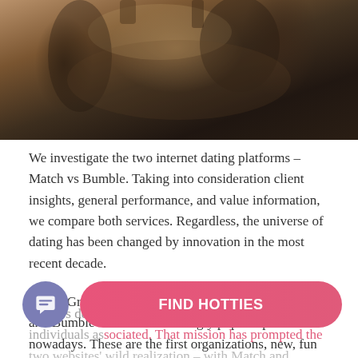[Figure (photo): Photo of two people holding hands outdoors, warm autumn tones, bokeh background]
We investigate the two internet dating platforms – Match vs Bumble. Taking into consideration client insights, general performance, and value information, we compare both services. Regardless, the universe of dating has been changed by innovation in the most recent decade.
Match Group Inc is a parent organization of Tinder, and Bumble Inc is an increasingly popular platform nowadays. These are the first organizations, new, fun startups dedicated to testing and changing how individuals associated. That mission has prompted the two websites' wild realization – with Match and Bumble